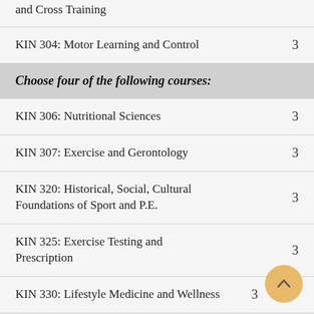and Cross Training
KIN 304: Motor Learning and Control    3
Choose four of the following courses:
KIN 306: Nutritional Sciences    3
KIN 307: Exercise and Gerontology    3
KIN 320: Historical, Social, Cultural Foundations of Sport and P.E.    3
KIN 325: Exercise Testing and Prescription    3
KIN 330: Lifestyle Medicine and Wellness    3